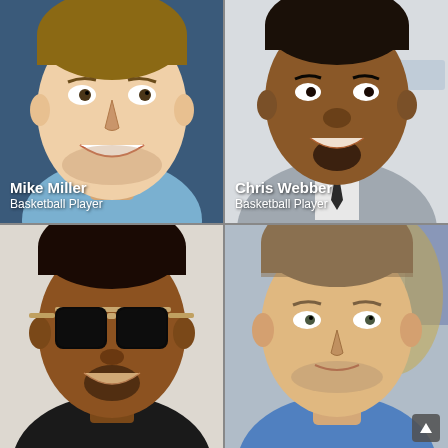[Figure (photo): Close-up photo of Mike Miller smiling, wearing a light blue shirt. Caption overlay: Mike Miller, Basketball Player.]
[Figure (photo): Close-up photo of Chris Webber smiling, wearing a grey suit. Caption overlay: Chris Webber, Basketball Player.]
[Figure (photo): Close-up photo of a man wearing large dark aviator sunglasses, smiling.]
[Figure (photo): Close-up photo of a young man with short hair and stubble, looking at camera.]